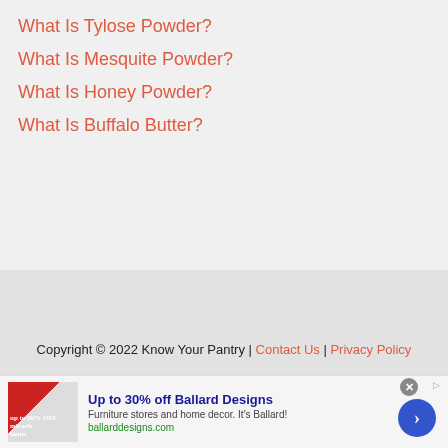What Is Tylose Powder?
What Is Mesquite Powder?
What Is Honey Powder?
What Is Buffalo Butter?
Copyright © 2022 Know Your Pantry | Contact Us | Privacy Policy
[Figure (screenshot): Advertisement banner: Up to 30% off Ballard Designs. Furniture stores and home decor. It's Ballard! ballarddesigns.com]